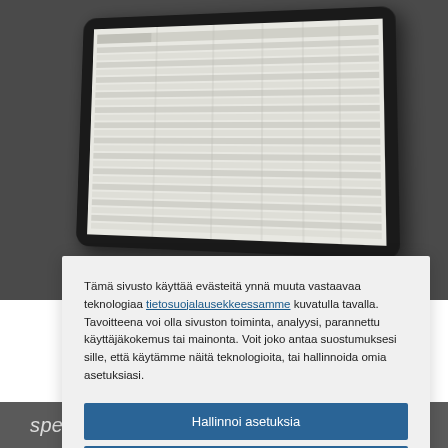[Figure (screenshot): Tablet device showing a spreadsheet/table on screen, displayed on dark grey background]
Tämä sivusto käyttää evästeitä ynnä muuta vastaavaa teknologiaa tietosuojalausekkeessamme kuvatulla tavalla. Tavoitteena voi olla sivuston toiminta, analyysi, parannettu käyttäjäkokemus tai mainonta. Voit joko antaa suostumuksesi sille, että käytämme näitä teknologioita, tai hallinnoida omia asetuksiasi.
Hallinnoi asetuksia
Hyväksy kaikki
Hylkää kaikki
Evästelausunto
specific requirements for drug serialisation